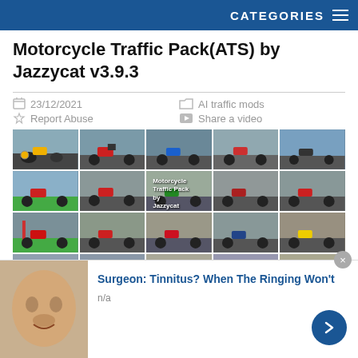CATEGORIES
Motorcycle Traffic Pack(ATS) by Jazzycat v3.9.3
23/12/2021
AI traffic mods
Report Abuse
Share a video
[Figure (photo): Grid of motorcycle screenshots from the ATS mod, showing various motorcycles on road scenes in a 5x4 grid layout. Text overlay reads 'Motorcycle Traffic Pack by Jazzycat'. An infolinks badge is visible in the lower-left corner.]
infolinks
Surgeon: Tinnitus? When The Ringing Won't
n/a